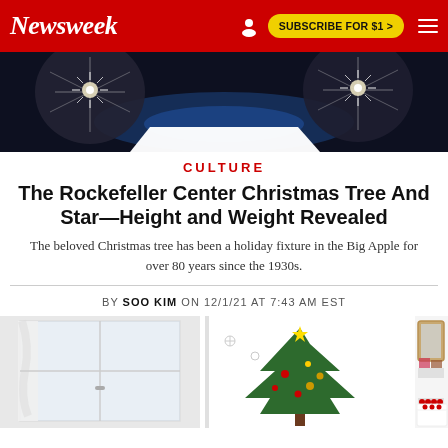Newsweek — SUBSCRIBE FOR $1 >
[Figure (photo): Dark nighttime photo showing sparkling crystal/glass ornament decorations with blue lights in background, top portion of article image]
CULTURE
The Rockefeller Center Christmas Tree And Star—Height and Weight Revealed
The beloved Christmas tree has been a holiday fixture in the Big Apple for over 80 years since the 1930s.
BY SOO KIM ON 12/1/21 AT 7:43 AM EST
[Figure (photo): Photo of a small decorated Christmas tree on a shelf or table in a bright white room with windows and shelving unit, bottom portion of article]